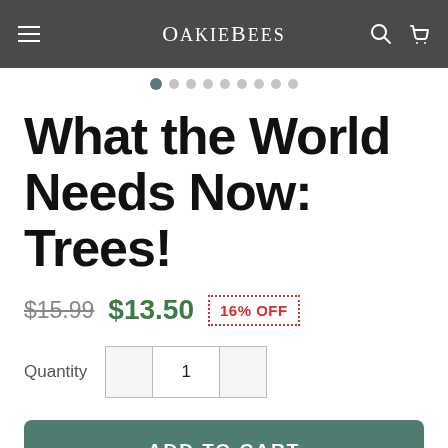OakieBees
What the World Needs Now: Trees!
$15.99  $13.50  16% OFF
Quantity  1
ADD TO CART
BUY IT NOW